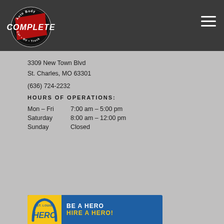[Figure (logo): Complete Auto Body logo — circular emblem with Car, RV, Truck text, on dark header bar]
3309 New Town Blvd
St. Charles, MO 63301
(636) 724-2232
HOURS OF OPERATIONS:
Mon – Fri	7:00 am – 5:00 pm
Saturday	8:00 am – 12:00 pm
Sunday		Closed
[Figure (infographic): St. Louis Hero banner — blue background with yellow left panel showing Hero logo and text 'BE A HERO HIRE A HERO!']